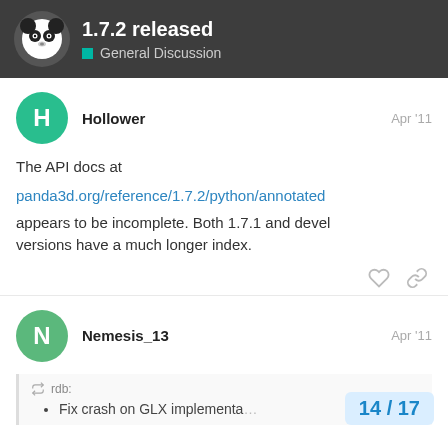1.7.2 released — General Discussion
Hollower — Apr '11
The API docs at
panda3d.org/reference/1.7.2/python/annotated
appears to be incomplete. Both 1.7.1 and devel versions have a much longer index.
Nemesis_13 — Apr '11
rdb:
Fix crash on GLX implementa…